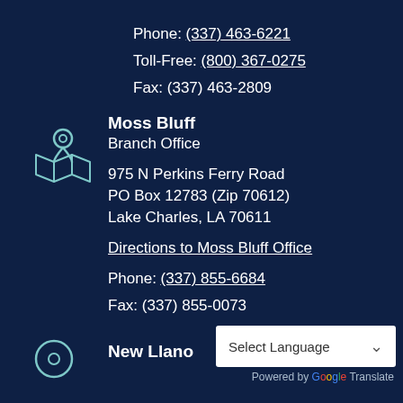Phone: (337) 463-6221
Toll-Free: (800) 367-0275
Fax: (337) 463-2809
[Figure (illustration): Map/location pin icon outline in light blue/teal color]
Moss Bluff Branch Office
975 N Perkins Ferry Road
PO Box 12783 (Zip 70612)
Lake Charles, LA 70611
Directions to Moss Bluff Office
Phone: (337) 855-6684
Fax: (337) 855-0073
[Figure (illustration): Target/location circle icon outline in light blue/teal color]
New Llano